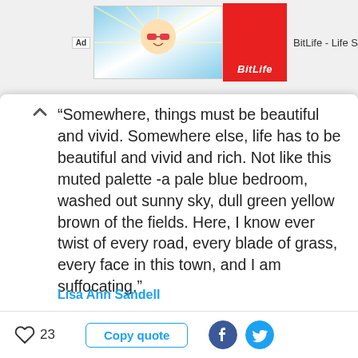[Figure (screenshot): BitLife ad banner with baby cartoon image and red logo box, text 'BitLife - Life S']
“Somewhere, things must be beautiful and vivid. Somewhere else, life has to be beautiful and vivid and rich. Not like this muted palette -a pale blue bedroom, washed out sunny sky, dull green yellow brown of the fields. Here, I know ever twist of every road, every blade of grass, every face in this town, and I am suffocating.”
Lisa Ann Sandell
23
Copy quote